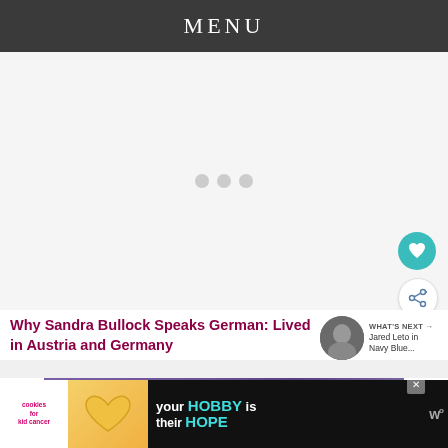MENU
[Figure (other): Loading placeholder with three gray dots centered on light gray background]
Why Sandra Bullock Speaks German: Lived in Austria and Germany
WHAT'S NEXT → Jared Leto in Navy Blue...
[Figure (photo): Article thumbnail image showing people in a purple-toned background]
[Figure (other): Bottom advertisement banner: 'your HOBBY is their HOPE' with cookies for cancer logo and close button]